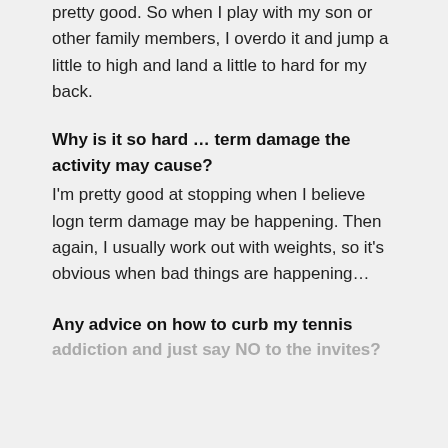pretty good. So when I play with my son or other family members, I overdo it and jump a little to high and land a little to hard for my back.
Why is it so hard … term damage the activity may cause?
I'm pretty good at stopping when I believe logn term damage may be happening. Then again, I usually work out with weights, so it's obvious when bad things are happening…
Any advice on how to curb my tennis addiction and just say NO to the invites?